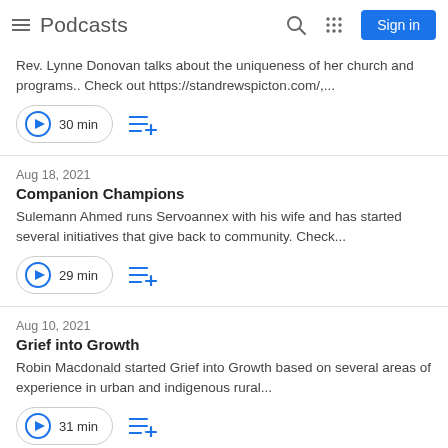Podcasts
Rev. Lynne Donovan talks about the uniqueness of her church and programs.. Check out https://standrewspicton.com/,...
30 min
Aug 18, 2021
Companion Champions
Sulemann Ahmed runs Servoannex with his wife and has started several initiatives that give back to community. Check...
29 min
Aug 10, 2021
Grief into Growth
Robin Macdonald started Grief into Growth based on several areas of experience in urban and indigenous rural...
31 min